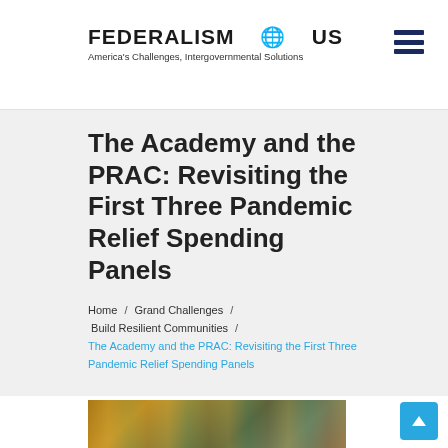FEDERALISM US — America's Challenges, Intergovernmental Solutions
The Academy and the PRAC: Revisiting the First Three Pandemic Relief Spending Panels
Home / Grand Challenges / Build Resilient Communities / The Academy and the PRAC: Revisiting the First Three Pandemic Relief Spending Panels
[Figure (photo): Close-up photo of U.S. paper currency bills]